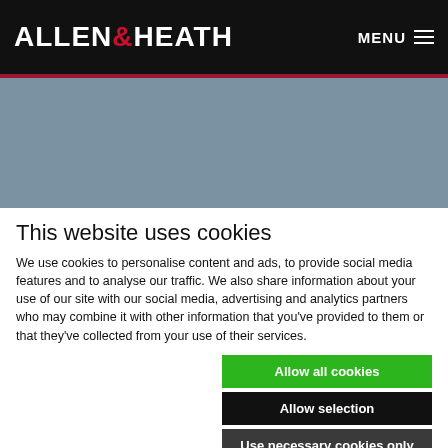ALLEN & HEATH   MENU
[Figure (illustration): Blue-grey hero image placeholder area]
This website uses cookies
We use cookies to personalise content and ads, to provide social media features and to analyse our traffic. We also share information about your use of our site with our social media, advertising and analytics partners who may combine it with other information that you've provided to them or that they've collected from your use of their services.
Allow all cookies | Allow selection | Use necessary cookies only
Required  Functional  Analytics  Show details  Advertising